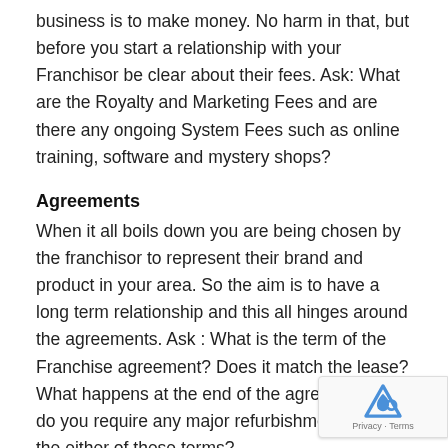business is to make money. No harm in that, but before you start a relationship with your Franchisor be clear about their fees. Ask: What are the Royalty and Marketing Fees and are there any ongoing System Fees such as online training, software and mystery shops?
Agreements
When it all boils down you are being chosen by the franchisor to represent their brand and product in your area. So the aim is to have a long term relationship and this all hinges around the agreements. Ask : What is the term of the Franchise agreement? Does it match the lease? What happens at the end of the agreement and do you require any major refurbishments during the either of these terms?